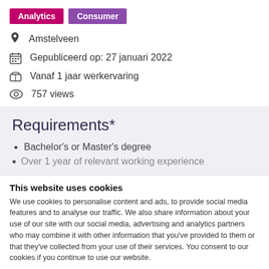Analytics | Consumer
Amstelveen
Gepubliceerd op: 27 januari 2022
Vanaf 1 jaar werkervaring
757 views
Requirements*
Bachelor's or Master's degree
Over 1 year of relevant working experience
This website uses cookies
We use cookies to personalise content and ads, to provide social media features and to analyse our traffic. We also share information about your use of our site with our social media, advertising and analytics partners who may combine it with other information that you've provided to them or that they've collected from your use of their services. You consent to our cookies if you continue to use our website.